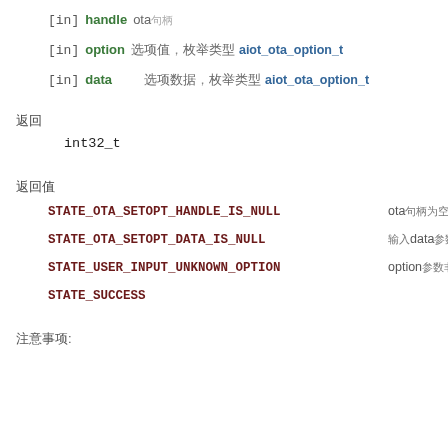[in] handle ota句柄
[in] option 选项值, 枚举类型aiot_ota_option_t
[in] data   选项数据, 枚举类型aiot_ota_option_t
返回
int32_t
返回值
STATE_OTA_SETOPT_HANDLE_IS_NULL  ota句柄为空
STATE_OTA_SETOPT_DATA_IS_NULL    输入data参数为空
STATE_USER_INPUT_UNKNOWN_OPTION  option参数非法
STATE_SUCCESS                   操作成功
注意事项: